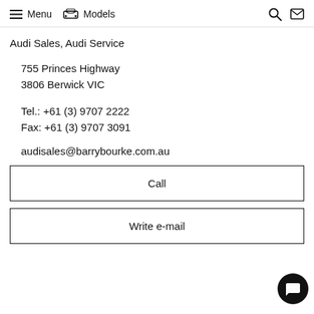Menu  Models
Audi Sales, Audi Service
755 Princes Highway
3806 Berwick VIC
Tel.: +61 (3) 9707 2222
Fax: +61 (3) 9707 3091
audisales@barrybourke.com.au
Call
Write e-mail